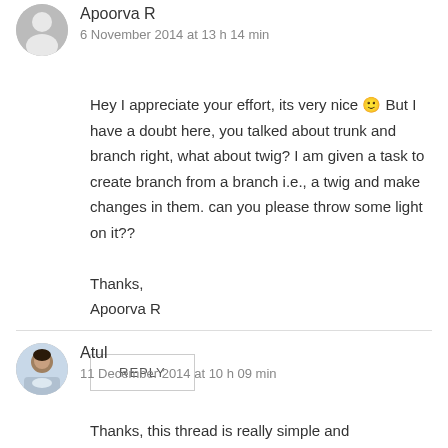Apoorva R
6 November 2014 at 13 h 14 min
Hey I appreciate your effort, its very nice 🙂 But I have a doubt here, you talked about trunk and branch right, what about twig? I am given a task to create branch from a branch i.e., a twig and make changes in them. can you please throw some light on it??

Thanks,
Apoorva R
REPLY
Atul
11 December 2014 at 10 h 09 min
Thanks, this thread is really simple and